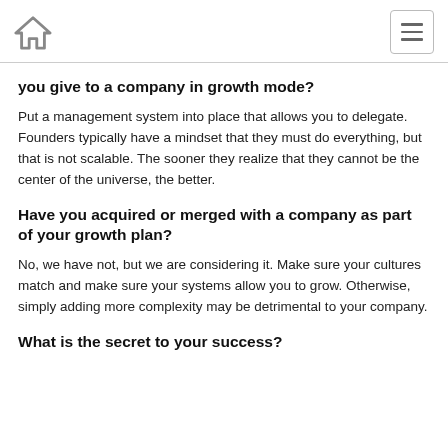Home | Menu
you give to a company in growth mode?
Put a management system into place that allows you to delegate. Founders typically have a mindset that they must do everything, but that is not scalable. The sooner they realize that they cannot be the center of the universe, the better.
Have you acquired or merged with a company as part of your growth plan?
No, we have not, but we are considering it. Make sure your cultures match and make sure your systems allow you to grow. Otherwise, simply adding more complexity may be detrimental to your company.
What is the secret to your success?